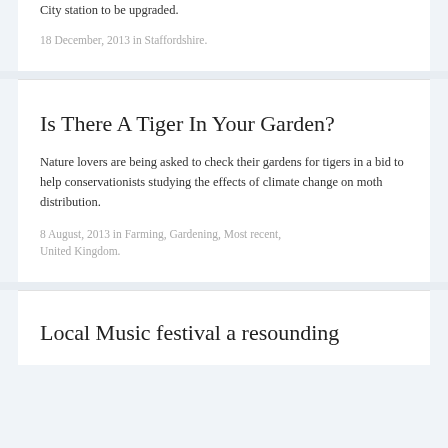City station to be upgraded.
18 December, 2013 in Staffordshire.
Is There A Tiger In Your Garden?
Nature lovers are being asked to check their gardens for tigers in a bid to help conservationists studying the effects of climate change on moth distribution.
8 August, 2013 in Farming, Gardening, Most recent, United Kingdom.
Local Music festival a resounding